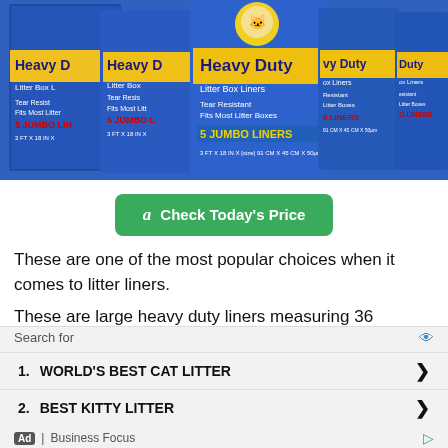[Figure (photo): Multiple blue boxes of Heavy Duty Litter Box Liners, 5 Jumbo Liners each, showing tear resistant and fits most litter boxes text]
Check Today's Price
These are one of the most popular choices when it comes to litter liners.
These are large heavy duty liners measuring 36
Search for
1. WORLD'S BEST CAT LITTER
2. BEST KITTY LITTER
Ad | Business Focus